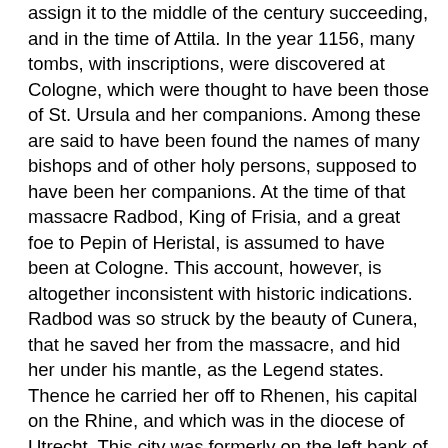assign it to the middle of the century succeeding, and in the time of Attila. In the year 1156, many tombs, with inscriptions, were discovered at Cologne, which were thought to have been those of St. Ursula and her companions. Among these are said to have been found the names of many bishops and of other holy persons, supposed to have been her companions. At the time of that massacre Radbod, King of Frisia, and a great foe to Pepin of Heristal, is assumed to have been at Cologne. This account, however, is altogether inconsistent with historic indications. Radbod was so struck by the beauty of Cunera, that he saved her from the massacre, and hid her under his mantle, as the Legend states. Thence he carried her off to Rhenen, his capital on the Rhine, and which was in the diocese of Utrecht. This city was formerly on the left bank of the old Rhine, the bed of which is now nearly dried up; but it is on the right bank of the later course of the Rhine, which in those parts is called Lecka. The city was so called, probably because it was situated between the two Rhines. A probable conjecture has been offered, however, that St. Cunera had been a daughter to one of those chiefs who had been baptized in Frisia, by St. Willibrord; that she had deserved